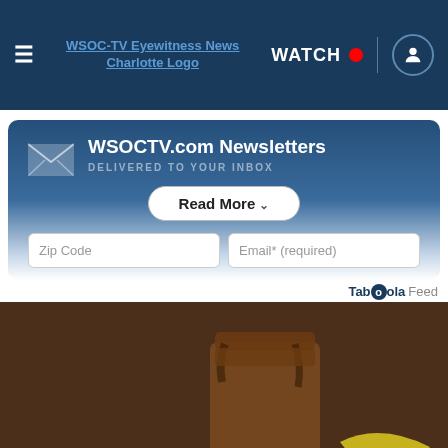WSOC-TV Eyewitness News Charlotte Logo | WATCH | User icon
WSOCTV.com Newsletters
DELIVERED TO YOUR INBOX
Read More
Zip Code
Email* (required)
Taboola Feed
[Figure (photo): A jar of chocolate spread with banana pieces on a dark brown background, with a close button (X) in the lower left corner]